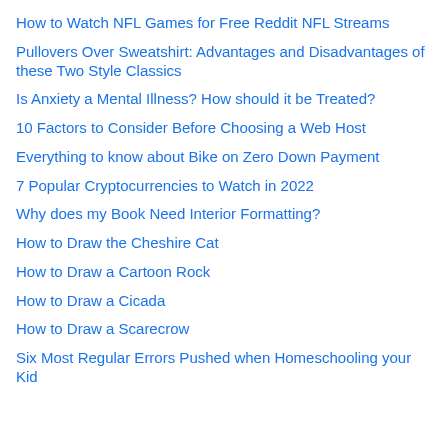How to Watch NFL Games for Free Reddit NFL Streams
Pullovers Over Sweatshirt: Advantages and Disadvantages of these Two Style Classics
Is Anxiety a Mental Illness? How should it be Treated?
10 Factors to Consider Before Choosing a Web Host
Everything to know about Bike on Zero Down Payment
7 Popular Cryptocurrencies to Watch in 2022
Why does my Book Need Interior Formatting?
How to Draw the Cheshire Cat
How to Draw a Cartoon Rock
How to Draw a Cicada
How to Draw a Scarecrow
Six Most Regular Errors Pushed when Homeschooling your Kid